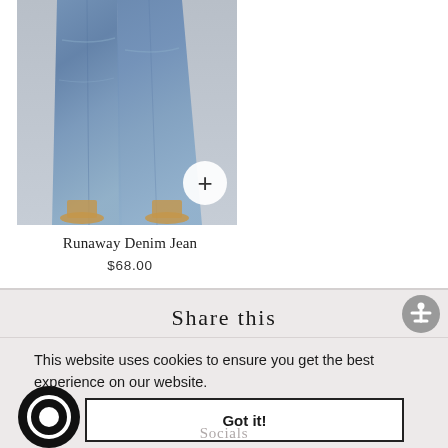[Figure (photo): Product photo showing wide-leg denim jeans from the waist down, worn with strappy sandals, displayed on a light gray background. A white circle with a plus sign is in the bottom-right corner of the image.]
Runaway Denim Jean
$68.00
Share this
This website uses cookies to ensure you get the best experience on our website.
Got it!
Socials